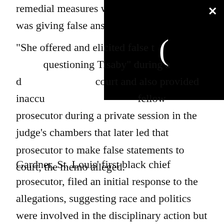remedial measures when she knew Tisaby was giving false answers to questions."
[Figure (screenshot): Black video player overlay with a loading spinner (closing parenthesis symbol in white) and a white X close button in the top-right corner]
"She offered and elicited false testimony while questioning Tisaby" during a deposition before court and also provided inaccurate information to a fellow prosecutor during a private session in the judge's chambers that later led that prosecutor to make false statements to court, the memo alleged.
Gardner, St. Louis' first black chief prosecutor, filed an initial response to the allegations, suggesting race and politics were involved in the disciplinary action but acknowledging she made mistakes in the Greitens